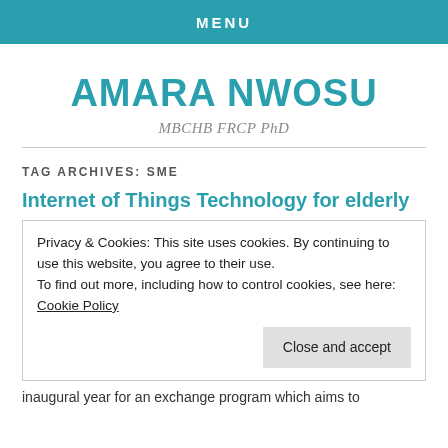MENU
AMARA NWOSU
MBCHB FRCP PhD
TAG ARCHIVES: SME
Internet of Things Technology for elderly
Privacy & Cookies: This site uses cookies. By continuing to use this website, you agree to their use.
To find out more, including how to control cookies, see here: Cookie Policy
Close and accept
inaugural year for an exchange program which aims to